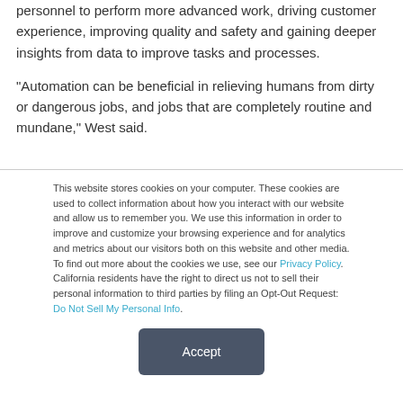personnel to perform more advanced work, driving customer experience, improving quality and safety and gaining deeper insights from data to improve tasks and processes.
“Automation can be beneficial in relieving humans from dirty or dangerous jobs, and jobs that are completely routine and mundane,” West said.
This website stores cookies on your computer. These cookies are used to collect information about how you interact with our website and allow us to remember you. We use this information in order to improve and customize your browsing experience and for analytics and metrics about our visitors both on this website and other media. To find out more about the cookies we use, see our Privacy Policy. California residents have the right to direct us not to sell their personal information to third parties by filing an Opt-Out Request: Do Not Sell My Personal Info.
Accept